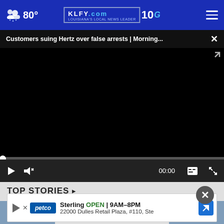KLFY.com 10 — 80°
Customers suing Hertz over false arrests | Morning... ×
[Figure (screenshot): Black video player area showing a paused video with playback controls (play button, mute, 00:00 timestamp, captions, fullscreen)]
TOP STORIES
[Figure (infographic): Advertisement banner for Petco Sterling showing 'OPEN 9AM–8PM, 22000 Dulles Retail Plaza, #110, Ste' with navigation arrow icon]